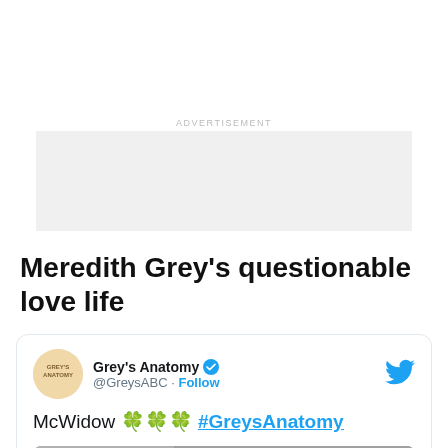ADVERTISEMENT
[Figure (other): Advertisement placeholder box (gray rectangle)]
Meredith Grey's questionable love life
[Figure (screenshot): Tweet from Grey's Anatomy (@GreysABC) with verified badge, text: McWidow 🍀🍀🍀 #GreysAnatomy, with a partial photo preview below]
McWidow 🍀🍀🍀 #GreysAnatomy